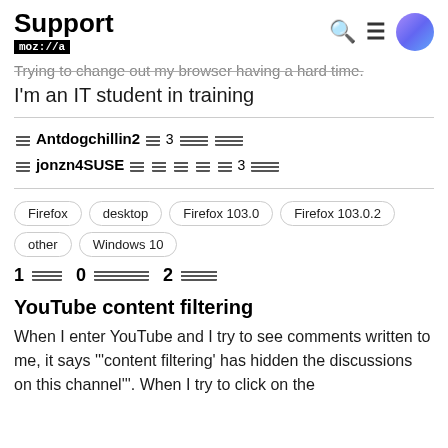Support mozilla
Trying to change out my browser having a hard time. I'm an IT student in training
Antdogchillin2 [redacted] 3 [redacted] [redacted] jonzn4SUSE [redacted] [redacted] [redacted] [redacted] 3 [redacted]
Firefox   desktop   Firefox 103.0   Firefox 103.0.2   other   Windows 10
1 [redacted]   0 [redacted]   2 [redacted]
YouTube content filtering
When I enter YouTube and I try to see comments written to me, it says ''content filtering' has hidden the discussions on this channel'. When I try to click on the